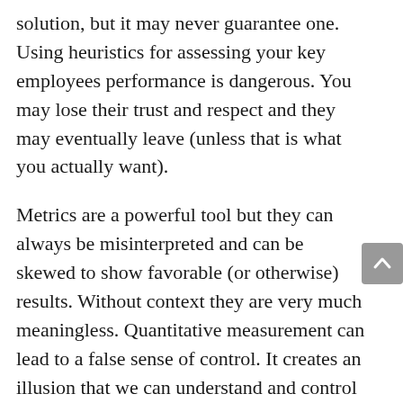solution, but it may never guarantee one. Using heuristics for assessing your key employees performance is dangerous. You may lose their trust and respect and they may eventually leave (unless that is what you actually want).
Metrics are a powerful tool but they can always be misinterpreted and can be skewed to show favorable (or otherwise) results. Without context they are very much meaningless. Quantitative measurement can lead to a false sense of control. It creates an illusion that we can understand and control something because we can count it. Someone mentioned in an online forum about quality that if you can't measure it, you can't have it. I guess this person was